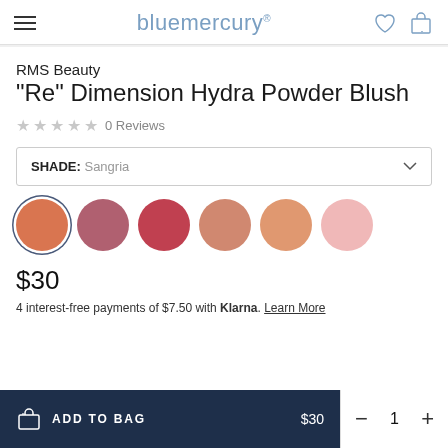bluemercury
RMS Beauty
"Re" Dimension Hydra Powder Blush
★ ★ ★ ★ ★ 0 Reviews
SHADE: Sangria
[Figure (illustration): Six circular color swatches: coral/orange (selected with border), dusty rose, red-rose, peach-tan, peach-orange, light pink]
$30
4 interest-free payments of $7.50 with Klarna. Learn More
ADD TO BAG  $30   −  1  +